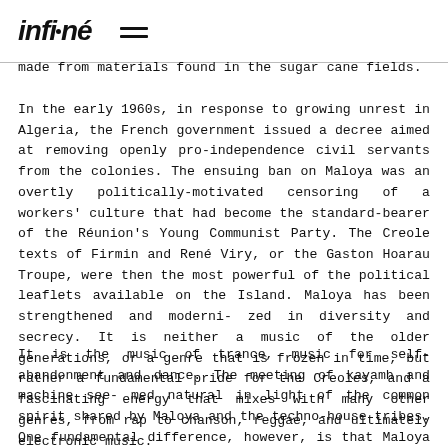infiné [logo with hamburger menu]
made from materials found in the sugar cane fields.
In the early 1960s, in response to growing unrest in Algeria, the French government issued a decree aimed at removing openly pro-independence civil servants from the colonies. The ensuing ban on Maloya was an overtly politically-motivated censoring of a workers' culture that had become the standard-bearer of the Réunion's Young Communist Party. The Creole texts of Firmin and René Viry, or the Gaston Hoarau Troupe, were then the most powerful of the political leaflets available on the Island. Maloya has been strengthened and moderni- zed in diversity and secrecy. It is neither a music of the older generations, or a genre that is frozen in time, but rather a fundamental pride for the Creoles, and a fascinating energy that mixes with many other genres, from rap to chanson, reggae, and ultimately electronic music.
It is the music of trance, music for self-abandonment and dance. The meeting of kayamb and machine see- med natural in light of the common spirit shared by Maloya and the techno-house tribes. One fundamental difference, however, is that Maloya is set to a ternary rhythm, which makes its marriage with most club-based